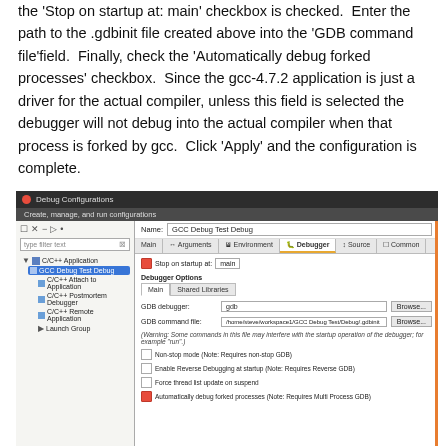Finally, click on the 'Debugger' tab. In that dialog, ensure the 'Stop on startup at: main' checkbox is checked. Enter the path to the .gdbinit file created above into the 'GDB command file' field. Finally, check the 'Automatically debug forked processes' checkbox. Since the gcc-4.7.2 application is just a driver for the actual compiler, unless this field is selected the debugger will not debug into the actual compiler when that process is forked by gcc. Click 'Apply' and the configuration is complete.
[Figure (screenshot): Eclipse Debug Configurations dialog showing the Debugger tab with GCC Debug Test Debug configuration selected. Shows Stop on startup at: main checkbox, GDB debugger set to 'gdb', GDB command file set to '/home/steve/workspace1/GCC Debug Test/Debug/.gdbinit', warning text, and checkboxes for Non-stop mode, Enable Reverse Debugging at startup, Force thread list update on suspend, and Automatically debug forked processes (checked).]